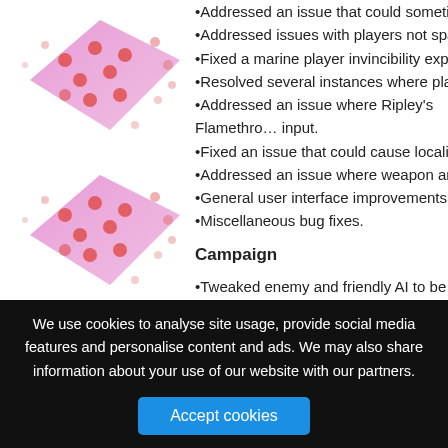[Figure (illustration): Decorative pink/magenta rhombus shape with red/orange dots scattered around it, resembling a stylized dice or game piece graphic.]
•Addressed an issue that could sometimes ca…
•Addressed issues with players not spawning i…
•Fixed a marine player invincibility exploit.
•Resolved several instances where players co…
•Addressed an issue where Ripley's Flamethro… input.
•Fixed an issue that could cause localized text…
•Addressed an issue where weapon ammunitio…
•General user interface improvements.
•Miscellaneous bug fixes.
Campaign
[Figure (illustration): Decorative pink/magenta rhombus shape with red/orange dots scattered around it, resembling a stylized dice or game piece graphic.]
•Tweaked enemy and friendly AI to be more ag…
•Modified campaign difficulty to account for im…
•Improved enemy collision detection regarding…
•Addressed some issues that could cause impr…
•Various tweaks to address instances where N…
•Players will no longer bleed out immediately w…
We use cookies to analyse site usage, provide social media features and personalise content and ads. We may also share information about your use of our website with our partners.
Accept cookies